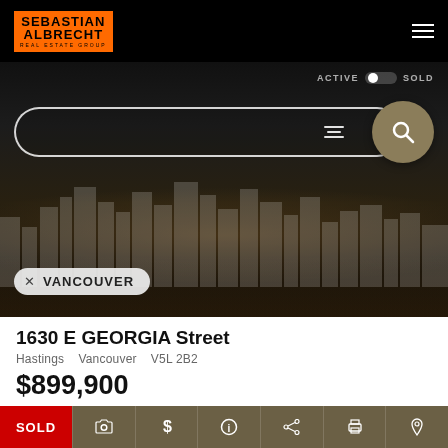SEBASTIAN ALBRECHT REAL ESTATE GROUP
[Figure (screenshot): Hero image of Vancouver city skyline at night with darkened overlay, search bar with filter icon and golden search button, ACTIVE/SOLD toggle, and VANCOUVER location tag]
1630 E GEORGIA Street
Hastings   Vancouver   V5L 2B2
$899,900
Residential Attached  beds: 2  baths: 2.0  1,130 sq. ft.
built: 2006
SOLD